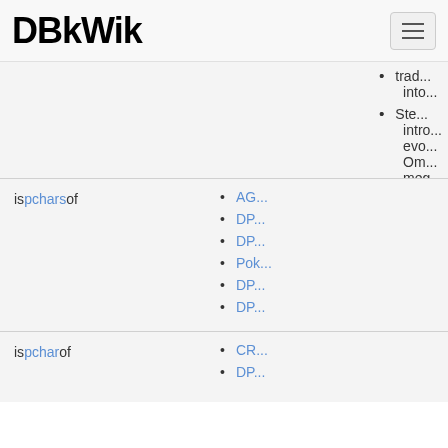DBkWik
trad... into...
Ste... intro... evo... Om... meg...
Ste... Met... Sin...
is pchars of
AG...
DP...
DP...
Pok...
DP...
DP...
is pchar of
CR...
DP...